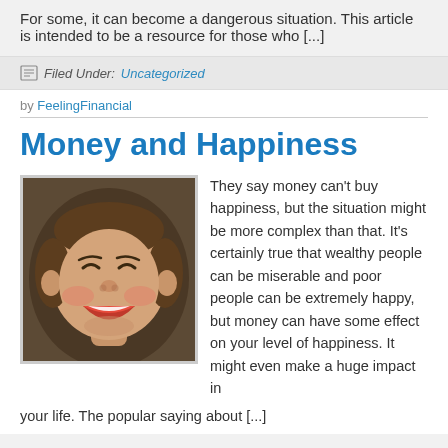For some, it can become a dangerous situation. This article is intended to be a resource for those who [...]
Filed Under: Uncategorized
by FeelingFinancial
Money and Happiness
[Figure (photo): A ceramic or plastic figurine of a smiling/laughing woman's face with rosy cheeks and open mouth, against a dark brown background.]
They say money can't buy happiness, but the situation might be more complex than that. It's certainly true that wealthy people can be miserable and poor people can be extremely happy, but money can have some effect on your level of happiness. It might even make a huge impact in your life. The popular saying about [...]